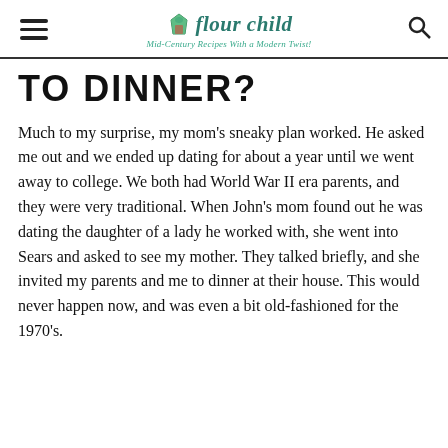Flour Child — Mid-Century Recipes With a Modern Twist!
TO DINNER?
Much to my surprise, my mom's sneaky plan worked. He asked me out and we ended up dating for about a year until we went away to college. We both had World War II era parents, and they were very traditional. When John's mom found out he was dating the daughter of a lady he worked with, she went into Sears and asked to see my mother. They talked briefly, and she invited my parents and me to dinner at their house. This would never happen now, and was even a bit old-fashioned for the 1970's.